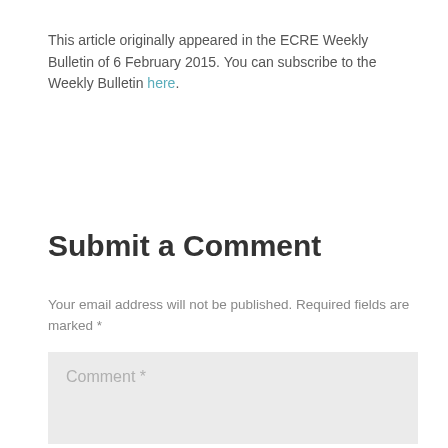This article originally appeared in the ECRE Weekly Bulletin of 6 February 2015. You can subscribe to the Weekly Bulletin here.
Submit a Comment
Your email address will not be published. Required fields are marked *